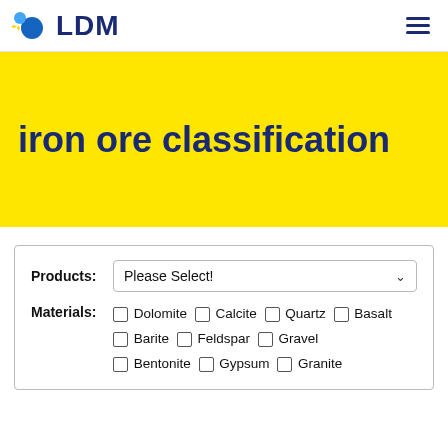LDM
iron ore classification
Products: Please Select!
Materials: ☐ Dolomite ☐ Calcite ☐ Quartz ☐ Basalt ☐ Barite ☐ Feldspar ☐ Gravel ☐ Bentonite ☐ Gypsum ☐ Granite